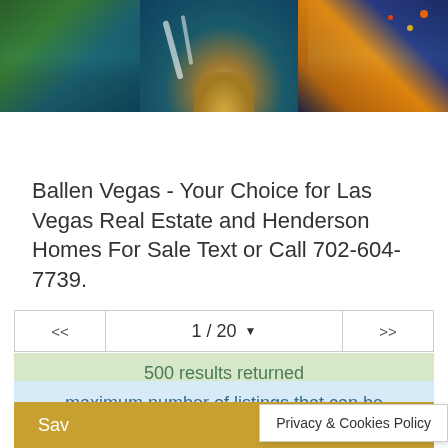[Figure (photo): Aerial/cityscape photo of Las Vegas showing water features, domed building, and Strip at night]
Ballen Vegas - Your Choice for Las Vegas Real Estate and Henderson Homes For Sale Text or Call 702-604-7739.
<<  1 / 20  ▼  >>
500 results returned
maximum number of listings that can be presented.
Sav  Privacy & Cookies Policy